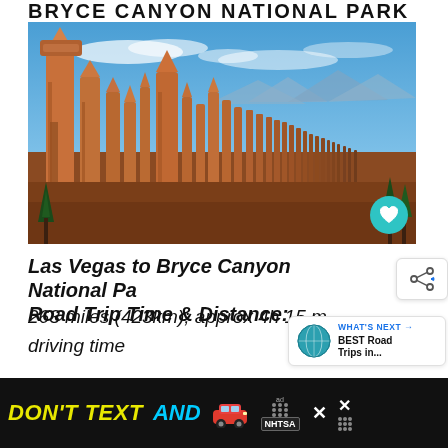BRYCE CANYON NATIONAL PARK
[Figure (photo): Bryce Canyon National Park hoodoos — tall orange-red sandstone spire formations under a blue sky with wispy clouds, with conifer trees below and a mountain range in the distance.]
Las Vegas to Bryce Canyon National Park Road Trip Time & Distance:
263 miles (423km); approx 4h 15 min driving time
[Figure (infographic): WHAT'S NEXT → BEST Road Trips in... promotional box with globe icon]
[Figure (infographic): DON'T TEXT AND [car emoji] advertisement banner — ad by NHTSA]